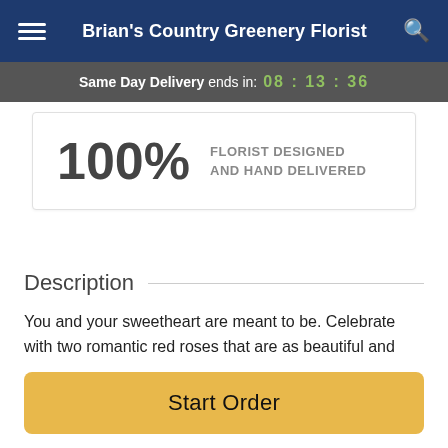Brian's Country Greenery Florist
Same Day Delivery ends in: 08 : 13 : 36
100% FLORIST DESIGNED AND HAND DELIVERED
Description
You and your sweetheart are meant to be. Celebrate with two romantic red roses that are as beautiful and timeless as your love.
Two stunning red roses are arranged with delicate caspia.
Start Order